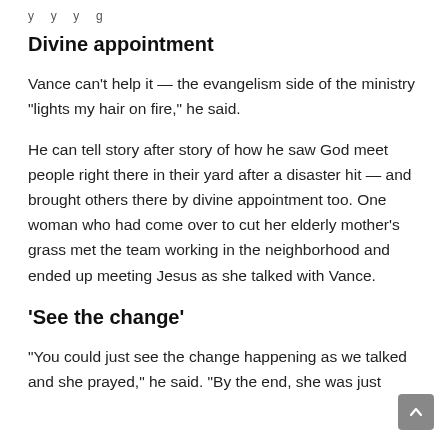y    y    y    g
Divine appointment
Vance can’t help it — the evangelism side of the ministry “lights my hair on fire,” he said.
He can tell story after story of how he saw God meet people right there in their yard after a disaster hit — and brought others there by divine appointment too. One woman who had come over to cut her elderly mother’s grass met the team working in the neighborhood and ended up meeting Jesus as she talked with Vance.
'See the change'
“You could just see the change happening as we talked and she prayed,” he said. “By the end, she was just